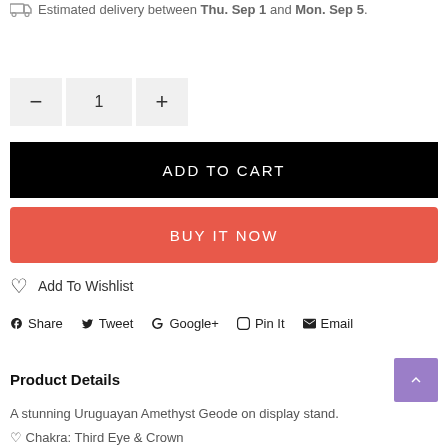Estimated delivery between Thu. Sep 1 and Mon. Sep 5.
[Figure (screenshot): Quantity selector with minus button, 1, and plus button]
ADD TO CART
BUY IT NOW
Add To Wishlist
Share  Tweet  Google+  Pin It  Email
Product Details
A stunning Uruguayan Amethyst Geode on display stand.
♡ Chakra: Third Eye & Crown